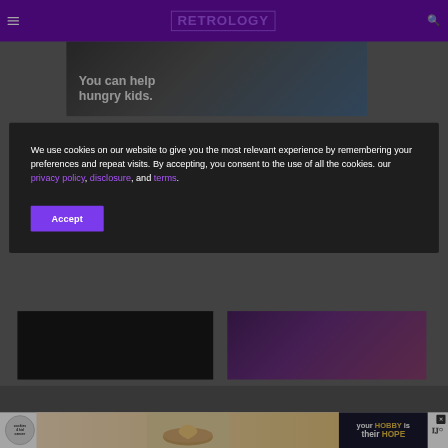RETROLOGY
[Figure (screenshot): Website screenshot showing Retrology gaming/media site with cookie consent modal overlay. Header has purple background with hamburger menu, RETROLOGY logo, and search icon. Background shows a charity ad image with text 'You can help hungry kids.' Two gaming images visible below. Cookie consent modal has dark background with text and Accept button.]
We use cookies on our website to give you the most relevant experience by remembering your preferences and repeat visits. By accepting, you consent to the use of all the cookies. our privacy policy, disclosure, and terms.
Accept
[Figure (screenshot): Bottom ad banner showing cookies for kid cancer logo, hands holding heart-shaped cookie, and 'your HOBBY is their HOPE' text on dark background, with Wunderman Thompson logo on right.]